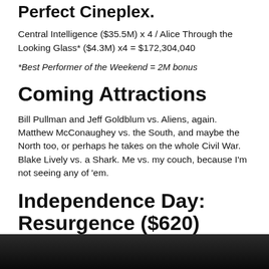Perfect Cineplex.
Central Intelligence ($35.5M) x 4 / Alice Through the Looking Glass* ($4.3M) x4 = $172,304,040
*Best Performer of the Weekend = 2M bonus
Coming Attractions
Bill Pullman and Jeff Goldblum vs. Aliens, again. Matthew McConaughey vs. the South, and maybe the North too, or perhaps he takes on the whole Civil War. Blake Lively vs. a Shark. Me vs. my couch, because I'm not seeing any of 'em.
Independence Day: Resurgence ($620)
[Figure (photo): Dark image, partially visible at bottom of page]